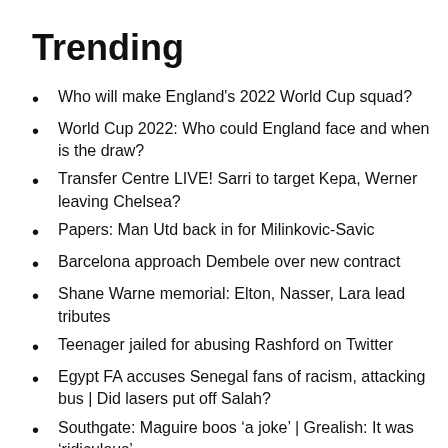Trending
Who will make England's 2022 World Cup squad?
World Cup 2022: Who could England face and when is the draw?
Transfer Centre LIVE! Sarri to target Kepa, Werner leaving Chelsea?
Papers: Man Utd back in for Milinkovic-Savic
Barcelona approach Dembele over new contract
Shane Warne memorial: Elton, Nasser, Lara lead tributes
Teenager jailed for abusing Rashford on Twitter
Egypt FA accuses Senegal fans of racism, attacking bus | Did lasers put off Salah?
Southgate: Maguire boos ‘a joke’ | Grealish: It was ‘ridiculous’
World Cup 2022: The stellar names not heading to Qatar
Video